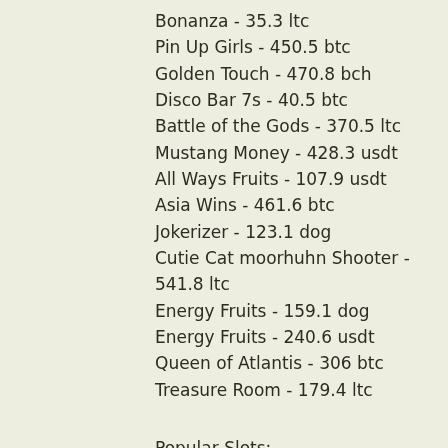Bonanza - 35.3 ltc
Pin Up Girls - 450.5 btc
Golden Touch - 470.8 bch
Disco Bar 7s - 40.5 btc
Battle of the Gods - 370.5 ltc
Mustang Money - 428.3 usdt
All Ways Fruits - 107.9 usdt
Asia Wins - 461.6 btc
Jokerizer - 123.1 dog
Cutie Cat moorhuhn Shooter - 541.8 ltc
Energy Fruits - 159.1 dog
Energy Fruits - 240.6 usdt
Queen of Atlantis - 306 btc
Treasure Room - 179.4 ltc
Popular Slots:
Cloudbet Casino Lion Dance
Betchan Casino Desert Drag
Diamond Reels Casino Sevens High
Betchan Casino Black Hawk